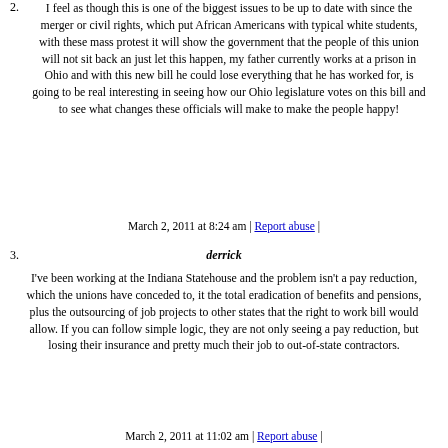2. Allen W. Coen
I feel as though this is one of the biggest issues to be up to date with since the merger or civil rights, which put African Americans with typical white students, with these mass protest it will show the government that the people of this union will not sit back an just let this happen, my father currently works at a prison in Ohio and with this new bill he could lose everything that he has worked for, is going to be real interesting in seeing how our Ohio legislature votes on this bill and to see what changes these officials will make to make the people happy!
March 2, 2011 at 8:24 am | Report abuse |
3. derrick
I've been working at the Indiana Statehouse and the problem isn't a pay reduction, which the unions have conceded to, it the total eradication of benefits and pensions, plus the outsourcing of job projects to other states that the right to work bill would allow. If you can follow simple logic, they are not only seeing a pay reduction, but losing their insurance and pretty much their job to out-of-state contractors.
March 2, 2011 at 11:02 am | Report abuse |